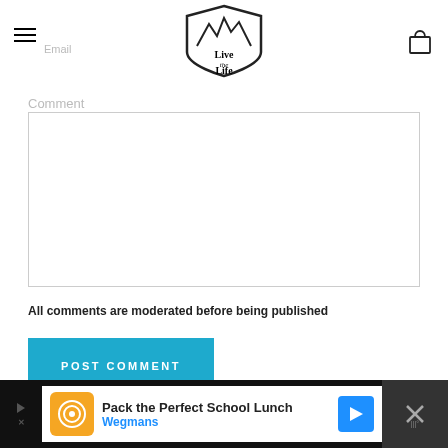[Figure (logo): Live The Life brand logo — shield shape with mountain peaks and cursive text]
Email
Comment
All comments are moderated before being published
POST COMMENT
[Figure (screenshot): Advertisement banner: Pack the Perfect School Lunch - Wegmans]